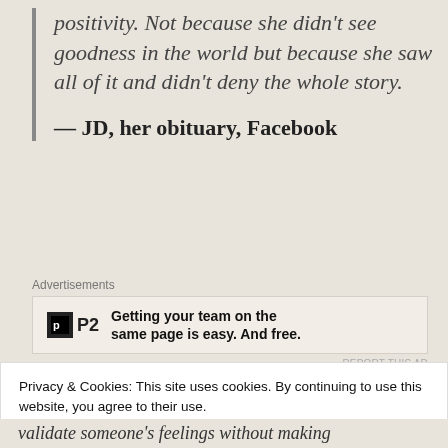positivity. Not because she didn't see goodness in the world but because she saw all of it and didn't deny the whole story.
— JD, her obituary, Facebook
[Figure (other): Advertisement banner for P2 product: 'Getting your team on the same page is easy. And free.']
Privacy & Cookies: This site uses cookies. By continuing to use this website, you agree to their use.
To find out more, including how to control cookies, see here: Cookie Policy
validate someone's feelings without making